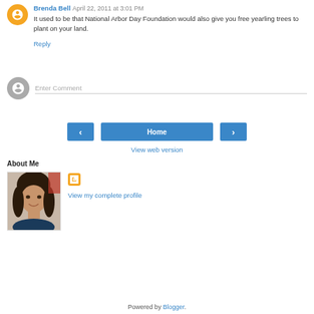Brenda Bell April 22, 2011 at 3:01 PM
It used to be that National Arbor Day Foundation would also give you free yearling trees to plant on your land.
Reply
Enter Comment
‹
Home
›
View web version
About Me
[Figure (photo): Profile photo of a woman with dark hair]
View my complete profile
Powered by Blogger.